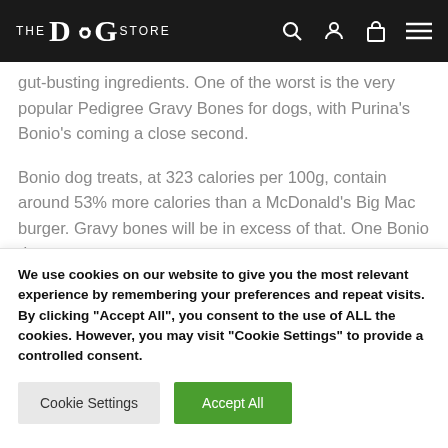THE DOG STORE
gut-busting ingredients. One of the worst is the very popular Pedigree Gravy Bones for dogs, with Purina's Bonio's coming a close second.
Bonio dog treats, at 323 calories per 100g, contain around 53% more calories than a McDonald's Big Mac burger. Gravy bones will be in excess of that. One Bonio dog
We use cookies on our website to give you the most relevant experience by remembering your preferences and repeat visits. By clicking "Accept All", you consent to the use of ALL the cookies. However, you may visit "Cookie Settings" to provide a controlled consent.